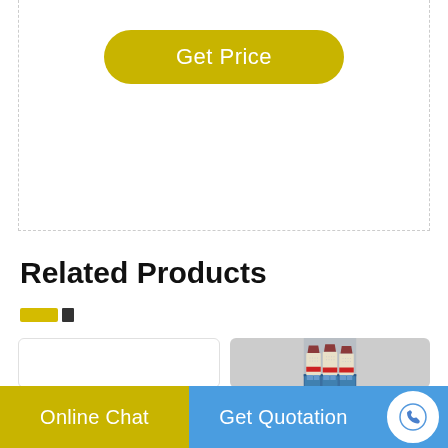[Figure (other): Get Price button - yellow pill-shaped button with white text]
Related Products
[Figure (other): Navigation indicators - yellow rectangle and dark rectangle]
[Figure (photo): Industrial machinery - multiple large hammer mills or crushers with cream/white body and red stripe, on blue pallets, outdoors]
[Figure (other): Empty product card placeholder]
Online Chat
Get Quotation
[Figure (other): Phone icon circle button]